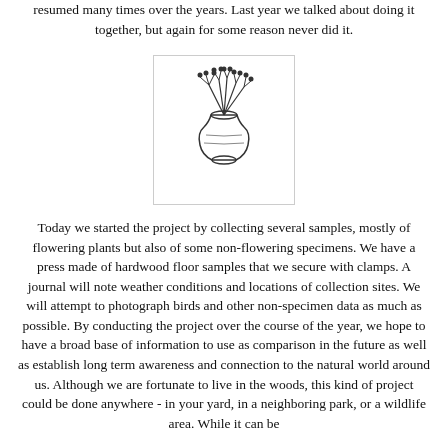resumed many times over the years. Last year we talked about doing it together, but again for some reason never did it.
[Figure (illustration): A simple ink drawing of a small vase or pot with several thin branching stems topped with small round berries or buds]
Today we started the project by collecting several samples, mostly of flowering plants but also of some non-flowering specimens. We have a press made of hardwood floor samples that we secure with clamps. A journal will note weather conditions and locations of collection sites. We will attempt to photograph birds and other non-specimen data as much as possible. By conducting the project over the course of the year, we hope to have a broad base of information to use as comparison in the future as well as establish long term awareness and connection to the natural world around us. Although we are fortunate to live in the woods, this kind of project could be done anywhere - in your yard, in a neighboring park, or a wildlife area. While it can be